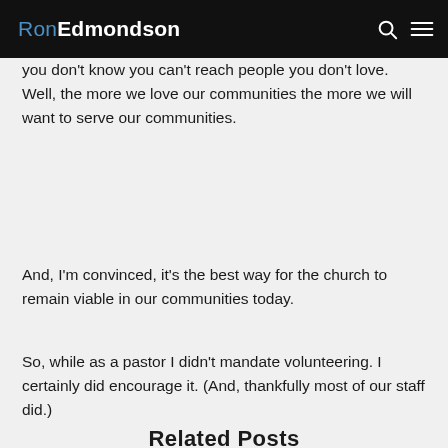RonEdmondson
you don't know you can't reach people you don't love. Well, the more we love our communities the more we will want to serve our communities.
And, I'm convinced, it's the best way for the church to remain viable in our communities today.
So, while as a pastor I didn't mandate volunteering. I certainly did encourage it. (And, thankfully most of our staff did.)
Related Posts
5 Shared Characteristics Needed to do